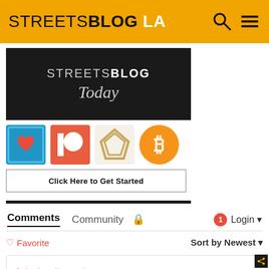STREETSBLOG LA
[Figure (screenshot): StreetsBlog Today newsletter banner - dark background with white STREETSBLOG text and italic Today]
[Figure (infographic): Row of four donation/support icons: blue square with heart, red/orange Patreon icon, gold diamond logo, orange Bitcoin logo]
Click Here to Get Started
[Figure (screenshot): Comments section UI with tabs: Comments (active/underlined), Community, lock icon, red notification badge with 1, Login dropdown]
♡ Favorite
Sort by Newest ▾
Join the discussion...
LOG IN WITH
[Figure (screenshot): Social login icons: Disqus (blue circle D), Facebook (blue circle f), Twitter (teal circle bird), Google (red circle G)]